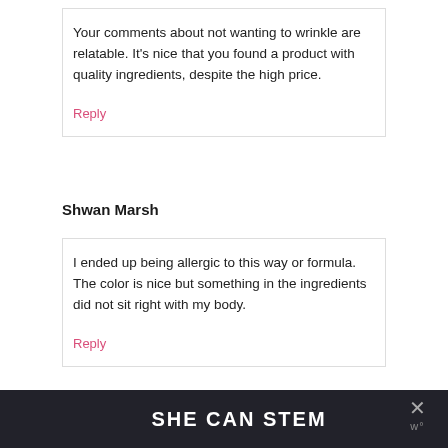Your comments about not wanting to wrinkle are relatable. It's nice that you found a product with quality ingredients, despite the high price.
Reply
Shwan Marsh
I ended up being allergic to this way or formula. The color is nice but something in the ingredients did not sit right with my body.
Reply
SHE CAN STEM